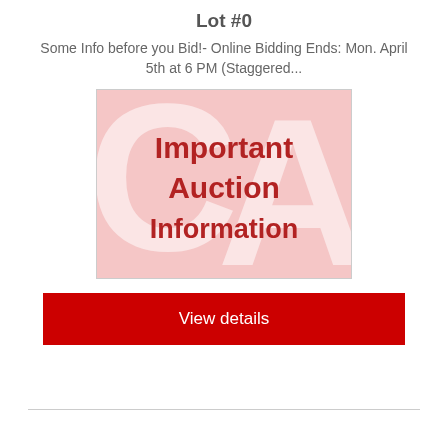Lot #0
Some Info before you Bid!- Online Bidding Ends: Mon. April 5th at 6 PM (Staggered...
[Figure (illustration): Pink background image with large white 'CA' letters watermark and bold dark red text reading 'Important Auction Information']
View details